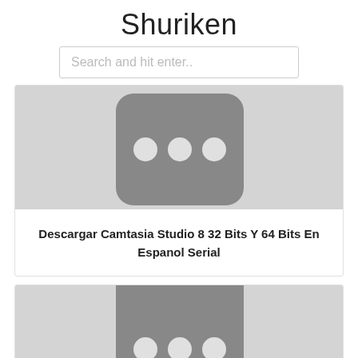Shuriken
Search and hit enter..
[Figure (screenshot): Placeholder image with gray background and a dark rounded square icon with three white dots]
Descargar Camtasia Studio 8 32 Bits Y 64 Bits En Espanol Serial
[Figure (screenshot): Placeholder image with gray background and a dark rounded square icon with three white dots (partially visible)]